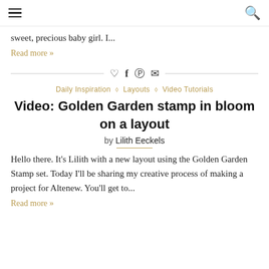[hamburger menu] [search icon]
sweet, precious baby girl. I...
Read more »
Daily Inspiration ◇ Layouts ◇ Video Tutorials
Video: Golden Garden stamp in bloom on a layout
by Lilith Eeckels
Hello there. It's Lilith with a new layout using the Golden Garden Stamp set. Today I'll be sharing my creative process of making a project for Altenew. You'll get to...
Read more »